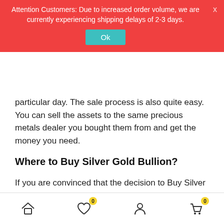Attention Customers: Due to increased order volume, we are currently experiencing shipping delays of 2-3 days.
particular day. The sale process is also quite easy. You can sell the assets to the same precious metals dealer you bought them from and get the money you need.
Where to Buy Silver Gold Bullion?
If you are convinced that the decision to Buy Silver Gold Bullion is a smart one and you are asking smart questions like Where to Buy Gold and Silver Near Me, then The New York Gold Company is a name you can trust. We are a leading dealer of gold, silver, platinum, palladium, and rare coins. With us, you can always find the right products that meet your expectations and are available within your budget. You can count on us to ensure that
Home | Wishlist 0 | Account | Cart 0